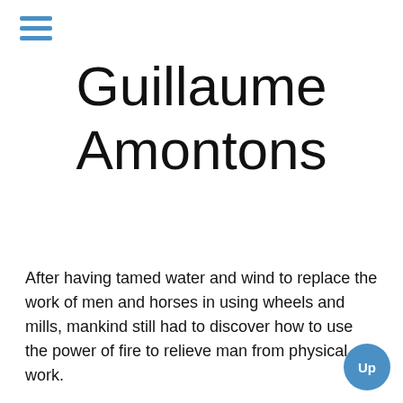[Figure (other): Hamburger menu icon with three horizontal blue lines]
Guillaume Amontons
After having tamed water and wind to replace the work of men and horses in using wheels and mills, mankind still had to discover how to use the power of fire to relieve man from physical work.
Since Antiquity several attempts had been done to use the power of heat (from Heron d'Alexandrie on) resulting in highly interesting apparatus. However, while during th